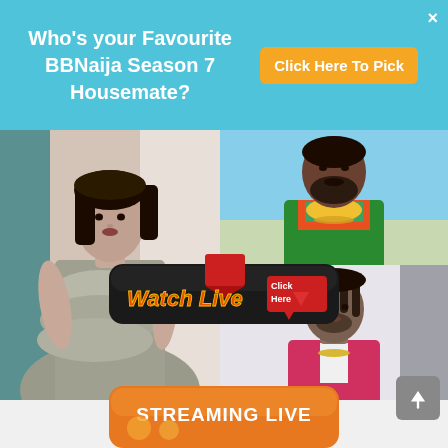[Figure (screenshot): BBNaija Season 7 promotional banner with text and button]
[Figure (photo): Collage of BBNaija housemates: woman in silver dress on left, man with colorful outfit top right, man in pink jacket bottom right]
[Figure (infographic): Watch Live click here button with red ribbon and arrow]
[Figure (infographic): Streaming Live button partially visible at bottom]